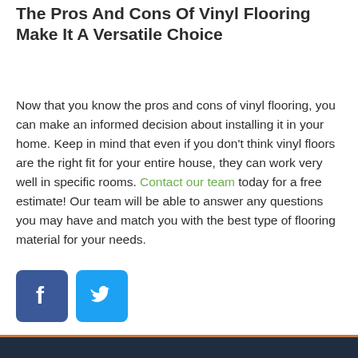The Pros And Cons Of Vinyl Flooring Make It A Versatile Choice
Now that you know the pros and cons of vinyl flooring, you can make an informed decision about installing it in your home. Keep in mind that even if you don't think vinyl floors are the right fit for your entire house, they can work very well in specific rooms. Contact our team today for a free estimate! Our team will be able to answer any questions you may have and match you with the best type of flooring material for your needs.
[Figure (logo): Facebook and Twitter social media share icons]